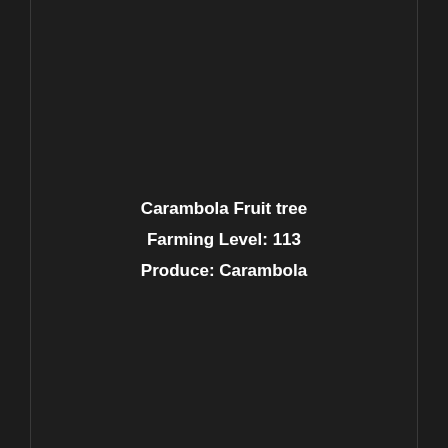Carambola Fruit tree
Farming Level: 113
Produce: Carambola